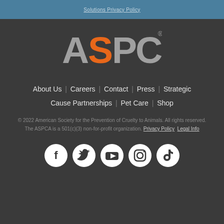Solutions Privacy Policy
[Figure (logo): ASPCA logo with SP in orange and A, CA in gray]
About Us | Careers | Contact | Press | Strategic Cause Partnerships | Pet Care | Shop
© 2022 American Society for the Prevention of Cruelty to Animals. All rights reserved. The ASPCA is a 501(c)(3) non-for-profit organization. Privacy Policy Legal Info
[Figure (infographic): Social media icons: Facebook, Twitter, YouTube, Instagram, TikTok]